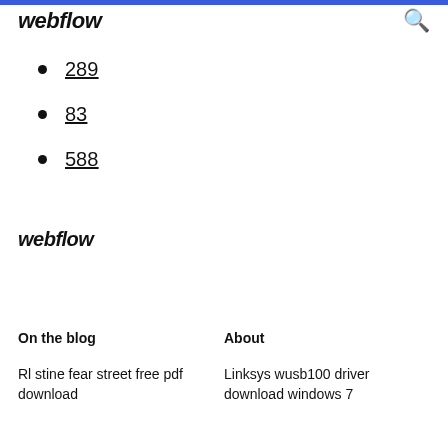webflow
289
83
588
webflow
On the blog
About
Rl stine fear street free pdf download
Linksys wusb100 driver download windows 7